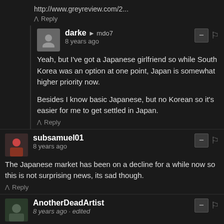http://www.greyreview.com/2...
↑ Reply
darke → mdo7
8 years ago
Yeah, but I've got a Japanese girlfriend so while South Korea was an option at one point, Japan is somewhat higher priority now.

Besides I know basic Japanese, but no Korean so it's easier for me to get settled in Japan.
↑ Reply
subsamuel01
8 years ago
The Japanese market has been on a decline for a while now so this is not surprising news, its sad though.
↑ Reply
AnotherDeadArtist
8 years ago edited